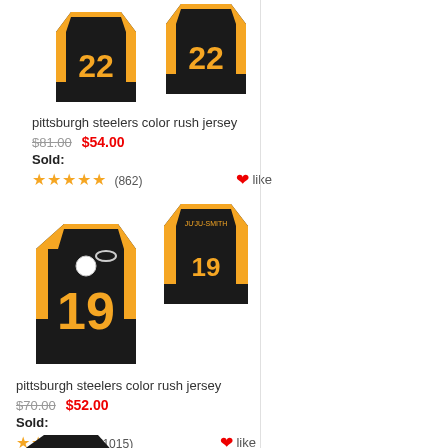[Figure (photo): Pittsburgh Steelers #22 black and gold football jersey shown front and back]
pittsburgh steelers color rush jersey
$81.00  $54.00
Sold:
★★★★★ (862)  ❤like
[Figure (photo): Pittsburgh Steelers #19 black and gold football jersey shown front and back]
pittsburgh steelers color rush jersey
$70.00  $52.00
Sold:
★★★★★ (1015)  ❤like
[Figure (photo): Pittsburgh Steelers jersey partial view at bottom of page]